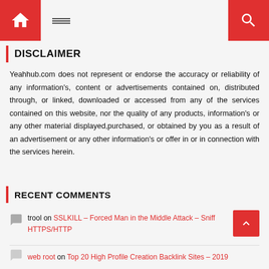Home | Menu | Search
DISCLAIMER
Yeahhub.com does not represent or endorse the accuracy or reliability of any information's, content or advertisements contained on, distributed through, or linked, downloaded or accessed from any of the services contained on this website, nor the quality of any products, information's or any other material displayed,purchased, or obtained by you as a result of an advertisement or any other information's or offer in or in connection with the services herein.
RECENT COMMENTS
trool on SSLKILL – Forced Man in the Middle Attack – Sniff HTTPS/HTTP
web root on Top 20 High Profile Creation Backlink Sites – 2019